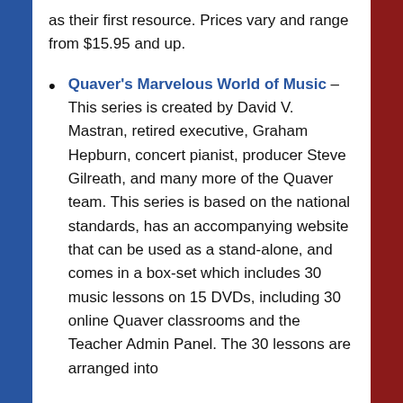as their first resource. Prices vary and range from $15.95 and up.
Quaver's Marvelous World of Music – This series is created by David V. Mastran, retired executive, Graham Hepburn, concert pianist, producer Steve Gilreath, and many more of the Quaver team. This series is based on the national standards, has an accompanying website that can be used as a stand-alone, and comes in a box-set which includes 30 music lessons on 15 DVDs, including 30 online Quaver classrooms and the Teacher Admin Panel. The 30 lessons are arranged into